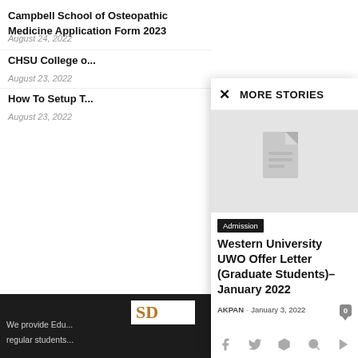Campbell School of Osteopathic Medicine Application Form 2023
August 24, 2022
CHSU College o...
August 23, 2022
How To Setup T...
August 23, 2022
MORE STORIES
[Figure (illustration): Document icon placeholder image on gray background]
Admission
Western University UWO Offer Letter (Graduate Students)– January 2022
AKPAN  -  January 3, 2022
We provide Edu... regular students...